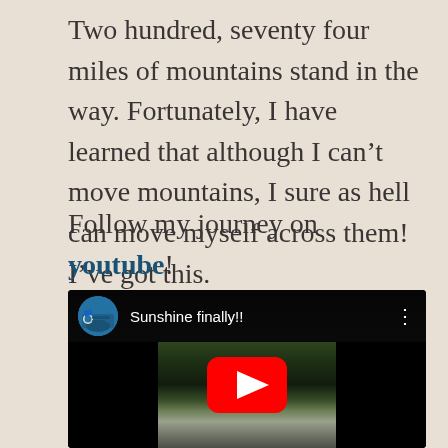Two hundred, seventy four miles of mountains stand in the way. Fortunately, I have learned that although I can't move mountains, I sure as hell can move myself across them! I've got this.
Follow my journey on youtube!
[Figure (screenshot): YouTube video embed showing 'Sunshine finally!!' with a motorcycle avatar icon, a forest stream thumbnail, and the YouTube play button overlay]